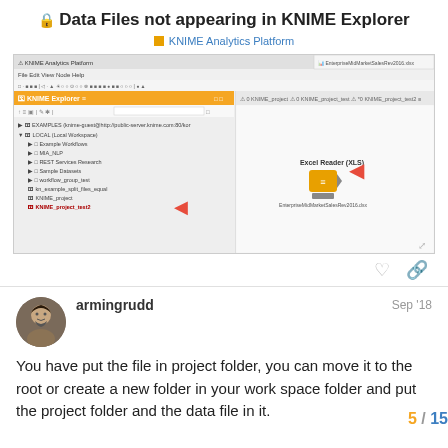Data Files not appearing in KNIME Explorer
KNIME Analytics Platform
[Figure (screenshot): Screenshot of KNIME Analytics Platform showing the KNIME Explorer panel with a local workspace tree (Example Workflows, MIA_NLP, REST Services Research, Sample Datasets, workflow_group_test, kn_example_split_files_equal, KNIME_project, KNIME_project_test2) and a workflow canvas showing an Excel Reader (XLS) node with EnterprisesMidMarketSalesRev2016.xlsx file, with red arrows pointing to KNIME_project_test2 in the explorer and the node respectively.]
armingrudd
Sep '18
You have put the file in project folder, you can move it to the root or create a new folder in your work space folder and put the project folder and the data file in it.